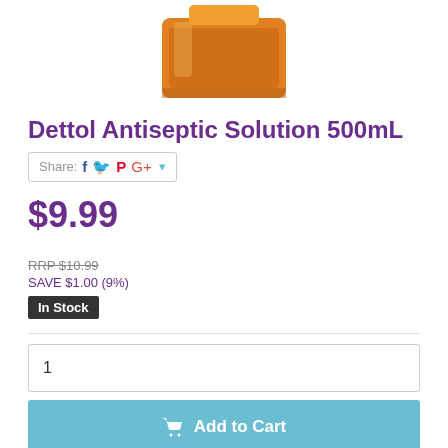[Figure (photo): Dettol Antiseptic Solution 500mL orange bottle, top portion visible]
Dettol Antiseptic Solution 500mL
Share: [Facebook] [Twitter] [Pinterest] [Google+] ▼
$9.99
RRP $10.99
SAVE $1.00 (9%)
In Stock
1
Add to Cart